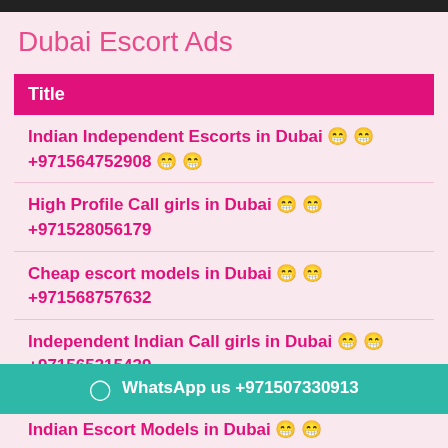Dubai Escort Ads
| Title |
| --- |
| Indian Independent Escorts in Dubai 😁 😁 +971564752908 😁 😁 |
| High Profile Call girls in Dubai 😁 😁 +971528056179 |
| Cheap escort models in Dubai 😁 😁 +971568757632 |
| Independent Indian Call girls in Dubai 😁 😁 +971565315439 |
⊙ WhatsApp us +971507330913
Indian Escort Models in Dubai 😁 😁